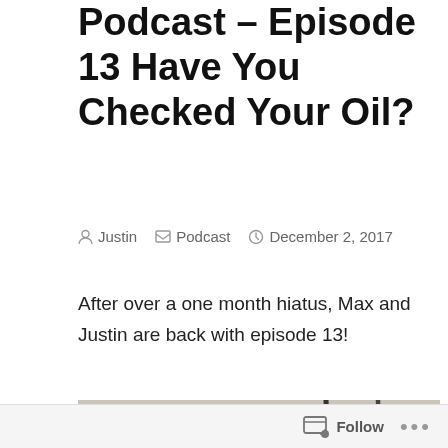Podcast – Episode 13 Have You Checked Your Oil?
Justin    Podcast    December 2, 2017
After over a one month hiatus, Max and Justin are back with episode 13!
[Figure (photo): Close-up photo of a white plastic oil jug with handle, with two microphone goosenecks visible in the background. Label reads 'CASE N DR...' with an oil drop logo.]
Follow ...